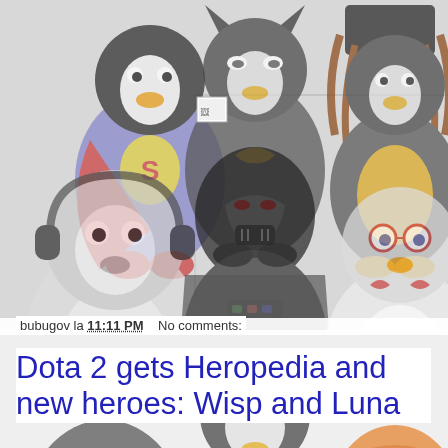[Figure (illustration): Grid of 6 Linux Tux penguin characters dressed as various pop culture characters (Superman, Batman, Darth Vader, headphone penguin, Kinder penguin, Firefox penguin, Slipknot penguin, plain penguins) arranged in 2 rows of 3, on a light grey background. A broken image icon is visible in the top-left area.]
bubugov la 11:11 PM    No comments:
Dota 2 gets Heropedia and new heroes: Wisp and Luna